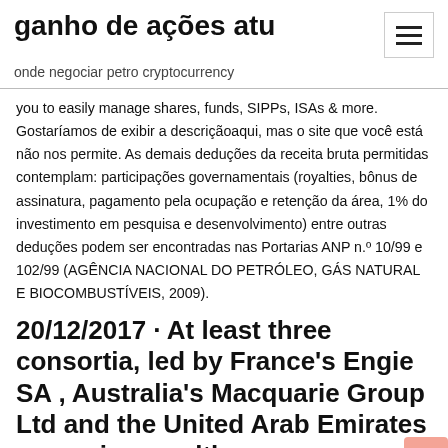ganho de ações atu
onde negociar petro cryptocurrency
you to easily manage shares, funds, SIPPs, ISAs & more. Gostaríamos de exibir a descriçãoaqui, mas o site que você está não nos permite. As demais deduções da receita bruta permitidas contemplam: participações governamentais (royalties, bônus de assinatura, pagamento pela ocupação e retenção da área, 1% do investimento em pesquisa e desenvolvimento) entre outras deduções podem ser encontradas nas Portarias ANP n.º 10/99 e 102/99 (AGÊNCIA NACIONAL DO PETRÓLEO, GÁS NATURAL E BIOCOMBUSTÍVEIS, 2009).
20/12/2017 · At least three consortia, led by France's Engie SA , Australia's Macquarie Group Ltd and the United Arab Emirates sovereign wealth